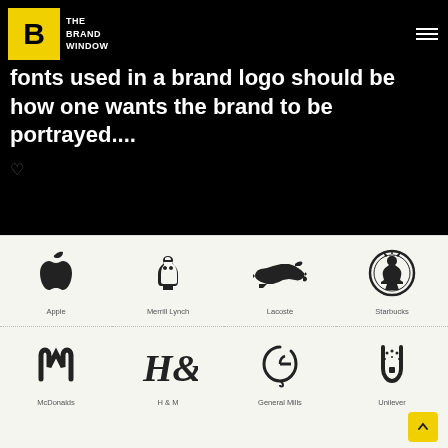[Figure (logo): The Brand Window logo - yellow box with B letter and brand name text]
fonts used in a brand logo should be how one wants the brand to be portrayed....
[Figure (infographic): Grid of brand logos: Apple, Merrill Lynch, Lacoste, Starbucks (row 1); McDonalds, H&M, General Mills, Unilever (row 2)]